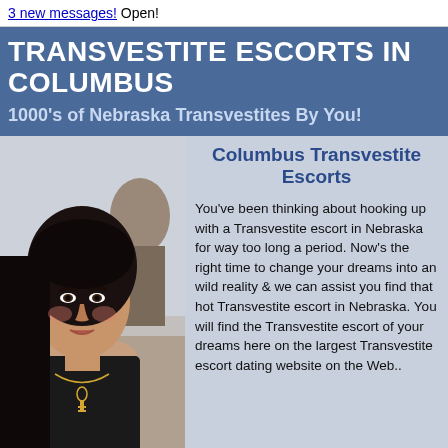3 new messages! Open!
TRANSVESTITE ESCORTS IN COLUMBUS
1000's of Nebraska Transvestites By You!
[Figure (photo): Portrait photo of a dark-haired woman wearing a black top and gold key necklace, with a person visible behind her]
Columbus Transvestite Escorts
You've been thinking about hooking up with a Transvestite escort in Nebraska for way too long a period. Now's the right time to change your dreams into an wild reality & we can assist you find that hot Transvestite escort in Nebraska. You will find the Transvestite escort of your dreams here on the largest Transvestite escort dating website on the Web..